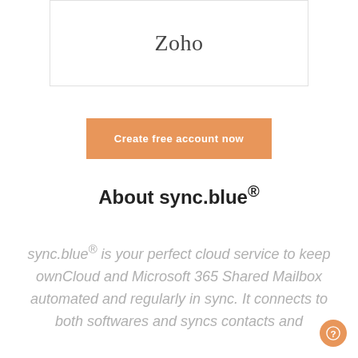Zoho
Create free account now
About sync.blue®
sync.blue® is your perfect cloud service to keep ownCloud and Microsoft 365 Shared Mailbox automated and regularly in sync. It connects to both softwares and syncs contacts and